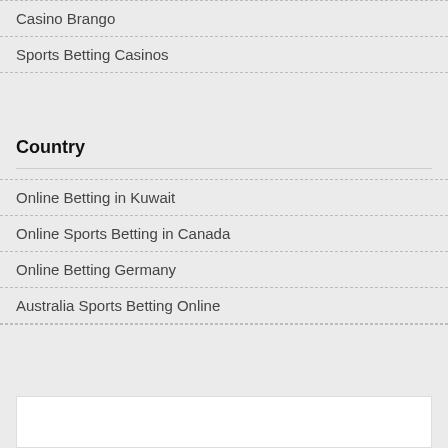Casino Brango
Sports Betting Casinos
Country
Online Betting in Kuwait
Online Sports Betting in Canada
Online Betting Germany
Australia Sports Betting Online